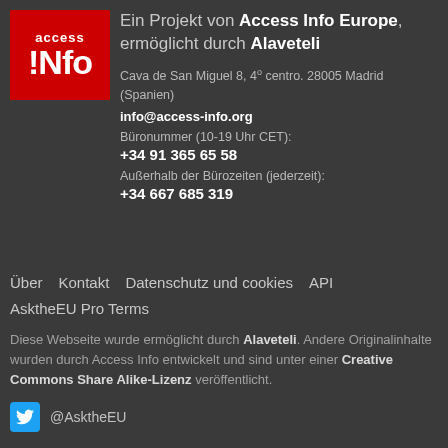[Figure (logo): Access Info Europe logo: red background with white text 'access' on top and '!Nfo' in large bold letters below]
Ein Projekt von Access Info Europe, ermöglicht durch Alaveteli
Cava de San Miguel 8, 4º centro. 28005 Madrid (Spanien)
info@access-info.org
Büronummer (10-19 Uhr CET):
+34 91 365 65 58
Außerhalb der Bürozeiten (jederzeit):
+34 667 685 319
Über   Kontakt   Datenschutz und cookies   API   AsktheEU Pro Terms
Diese Webseite wurde ermöglicht durch Alaveteli. Andere Originalinhalte wurden durch Access Info entwickelt und sind unter einer Creative Commons Share Alike-Lizenz veröffentlicht.
@AsktheEU